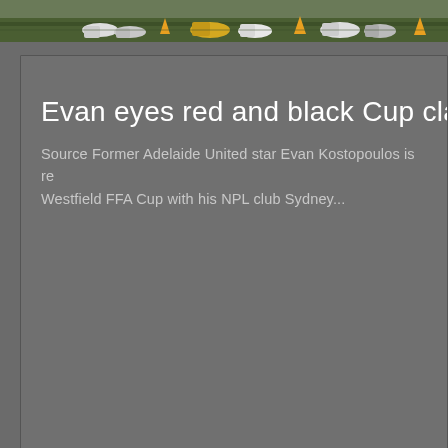[Figure (photo): Cropped photo of football/soccer players' feet and boots on a grass field, with training cones visible]
Evan eyes red and black Cup clash
Source Former Adelaide United star Evan Kostopoulos is re Westfield FFA Cup with his NPL club Sydney...
Evan eyes red and black Cup clash
Source Former Adelaide United star Evan Kostopoulos is re Westfield FFA Cup with his NPL club Sydney...